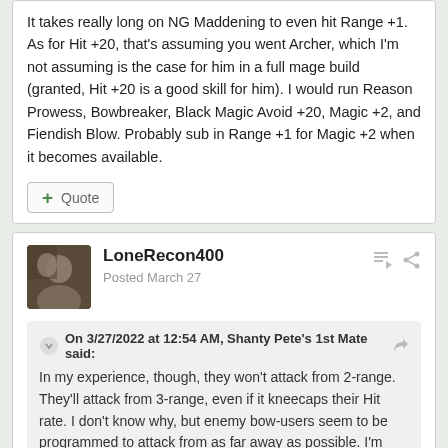It takes really long on NG Maddening to even hit Range +1. As for Hit +20, that's assuming you went Archer, which I'm not assuming is the case for him in a full mage build (granted, Hit +20 is a good skill for him). I would run Reason Prowess, Bowbreaker, Black Magic Avoid +20, Magic +2, and Fiendish Blow. Probably sub in Range +1 for Magic +2 when it becomes available.
+ Quote
LoneRecon400
Posted March 27
On 3/27/2022 at 12:54 AM, Shanty Pete's 1st Mate said:
In my experience, though, they won't attack from 2-range. They'll attack from 3-range, even if it kneecaps their Hit rate. I don't know why, but enemy bow-users seem to be programmed to attack from as far away as possible. I'm sure they'll attack from 2 spaces if it's their only option, and maybe if they have 0 hit at 3 or